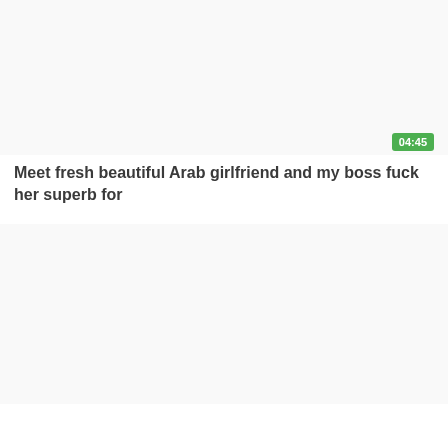[Figure (screenshot): Video thumbnail placeholder, light gray/white background]
04:45
Meet fresh beautiful Arab girlfriend and my boss fuck her superb for
[Figure (screenshot): Video thumbnail placeholder, light gray/white background]
17:55